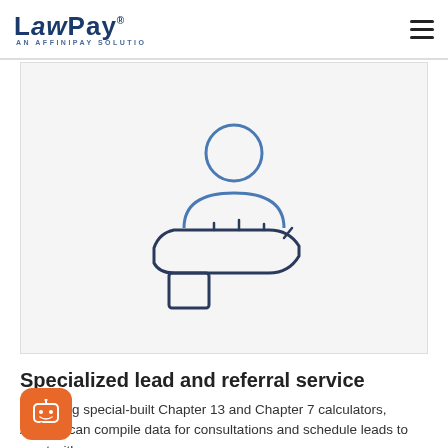LawPay — An AffiniPay Solution
[Figure (illustration): Icon of a hand presenting/offering a person silhouette, drawn in blue outline style on a light gray background, representing a lead referral or client service concept]
Specialized lead and referral service
Using special-built Chapter 13 and Chapter 7 calculators, Ascend can compile data for consultations and schedule leads to meet with you.